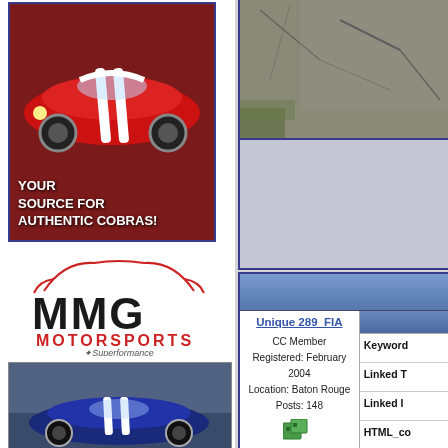[Figure (photo): Red Shelby Cobra with white racing stripes on dark red background. Text reads YOUR SOURCE FOR AUTHENTIC COBRAS!]
[Figure (logo): MMG Motorsports logo with red car outline, Superformance badge]
[Figure (photo): Blue Shelby Cobra car photo]
[Figure (photo): Pavement/road surface texture photo top right]
| User | Meta |
| --- | --- |
| Unique 289_FIA |  |
| CC Member |  |
| Registered: February 2004 |  |
| Location: Baton Rouge |  |
| Posts: 148 |  |
|  | Keyword |
|  | Linked T |
|  | Linked I |
|  | HTML_co |